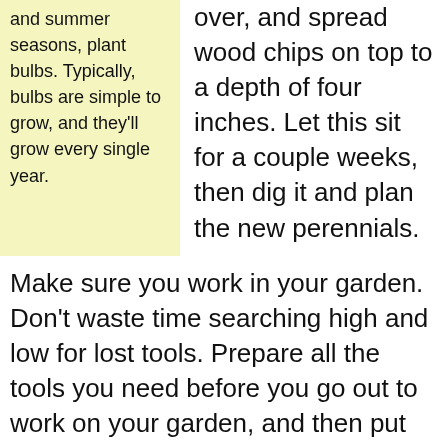and summer seasons, plant bulbs. Typically, bulbs are simple to grow, and they'll grow every single year.
over, and spread wood chips on top to a depth of four inches. Let this sit for a couple weeks, then dig it and plan the new perennials.
Make sure you work in your garden. Don't waste time searching high and low for lost tools. Prepare all the tools you need before you go out to work on your garden, and then put them back in their place when done. If you need, purchase a tool belt or heavy duty pants with plenty of pockets.
Increase the value of your investment.Landscaping your property provides one of the money invested. A few